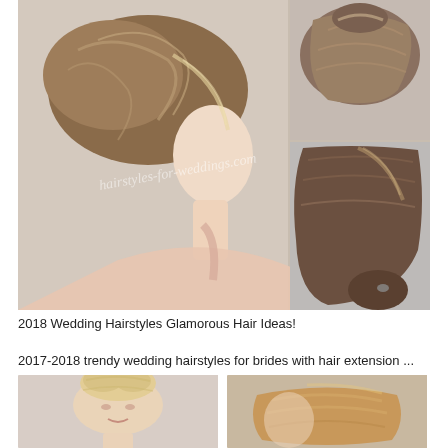[Figure (photo): Collage of 2018 wedding hairstyles: large photo on left showing a woman in profile with an elegant updo bun, smaller photos on top-right showing back views of two updo hairstyles. Watermark reads hairstyles-for-weddings.com]
2018 Wedding Hairstyles Glamorous Hair Ideas!
2017-2018 trendy wedding hairstyles for brides with hair extension ...
[Figure (photo): Two photos side by side of wedding updo hairstyles: left shows a blonde woman with a messy updo bun, right shows a woman with a braided/twisted updo in warm blonde tones.]